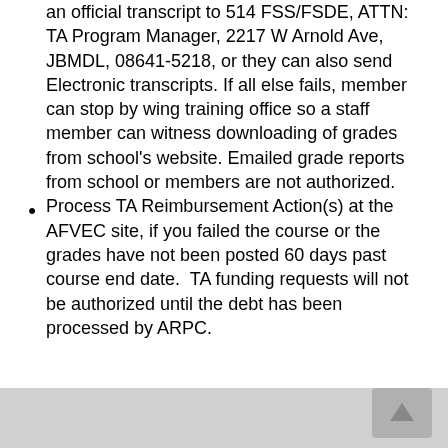an official transcript to 514 FSS/FSDE, ATTN:  TA Program Manager, 2217 W Arnold Ave, JBMDL, 08641-5218, or they can also send Electronic transcripts. If all else fails, member can stop by wing training office so a staff member can witness downloading of grades from school's website. Emailed grade reports from school or members are not authorized.
Process TA Reimbursement Action(s) at the AFVEC site, if you failed the course or the grades have not been posted 60 days past course end date.  TA funding requests will not be authorized until the debt has been processed by ARPC.